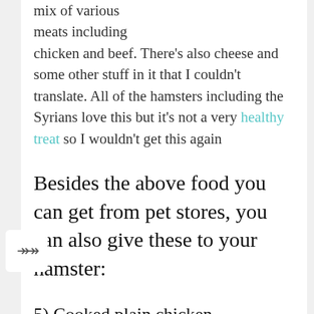mix of various meats including chicken and beef. There's also cheese and some other stuff in it that I couldn't translate. All of the hamsters including the Syrians love this but it's not a very healthy treat so I wouldn't get this again
Besides the above food you can get from pet stores, you can also give these to your hamster:
5) Cooked plain chicken
All my hamsters seem to really like this. It's also a good treat for growing or pregnant hamsters since it's high in protein